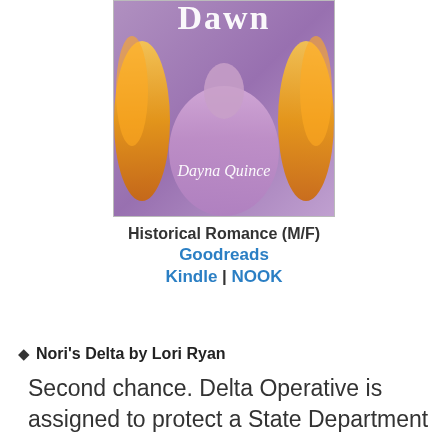[Figure (illustration): Book cover of 'Dawn' by Dayna Quince showing a woman in a purple/lavender dress with fire and feathers in the background. The title 'Dawn' appears at the top and the author name 'Dayna Quince' appears in script font over the image.]
Historical Romance (M/F)
Goodreads
Kindle | NOOK
✦ Nori's Delta by Lori Ryan
Second chance. Delta Operative is assigned to protect a State Department